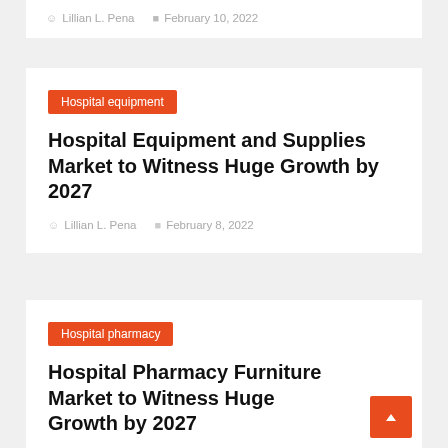Lillian L. Pena   February 10, 2022
Hospital equipment
Hospital Equipment and Supplies Market to Witness Huge Growth by 2027
Lillian L. Pena   February 8, 2022
Hospital pharmacy
Hospital Pharmacy Furniture Market to Witness Huge Growth by 2027